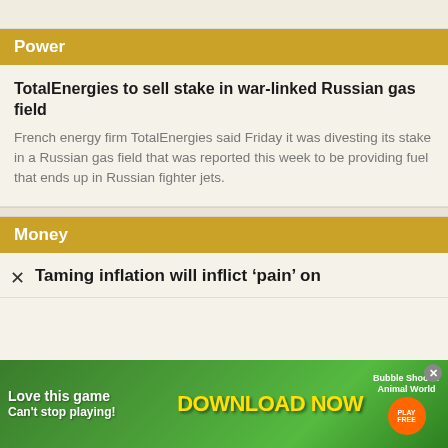Power
TotalEnergies to sell stake in war-linked Russian gas field
French energy firm TotalEnergies said Friday it was divesting its stake in a Russian gas field that was reported this week to be providing fuel that ends up in Russian fighter jets.
Money
Taming inflation will inflict 'pain' on
[Figure (other): Advertisement banner: colorful mobile game ad with text 'Love this game Can't stop playing!' and 'Download Now' with game characters, promoting Bubble Shooter Animal World]